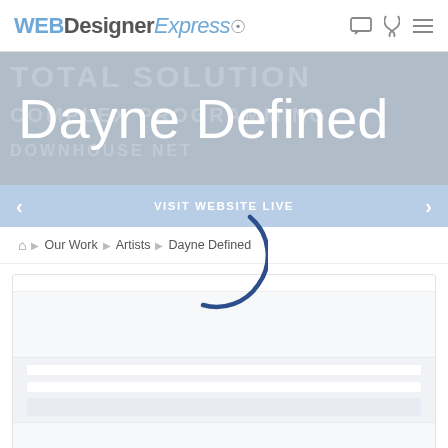WEBDesignerExpress logo and navigation icons
[Figure (screenshot): Hero banner with word cloud background (TOTAL SOLUTION, COMPLEX PROGRAMMING, etc.) and large white text 'Dayne Defined']
< VISIT WEBSITE LIVE >
Home > Our Work > Artists > Dayne Defined
[Figure (other): Loading spinner (partial arc in dark blue)]
[Figure (other): Content skeleton placeholder area with alternating row strips]